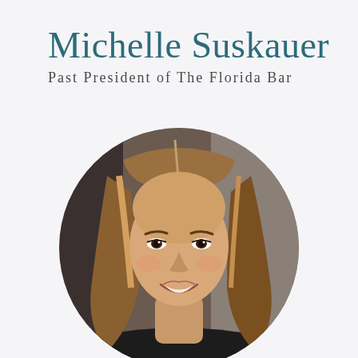Michelle Suskauer
Past President of The Florida Bar
[Figure (photo): Circular portrait photo of Michelle Suskauer, a woman with long blonde-highlighted brown hair, smiling, wearing dark clothing, with a blurred indoor/outdoor background.]